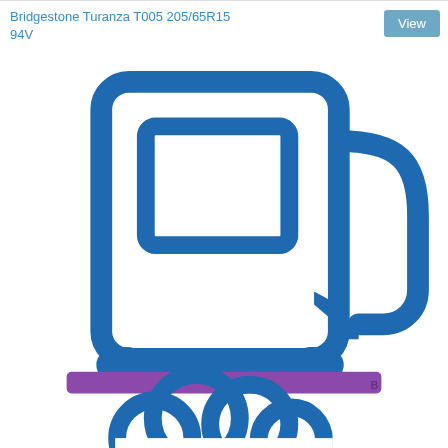Bridgestone Turanza T005 205/65R15 94V
[Figure (illustration): Blue icon of a fuel/gas pump on a purple base platform, with a blue cloud/smoke icon below the pump, suggesting fuel efficiency or emissions rating illustration.]